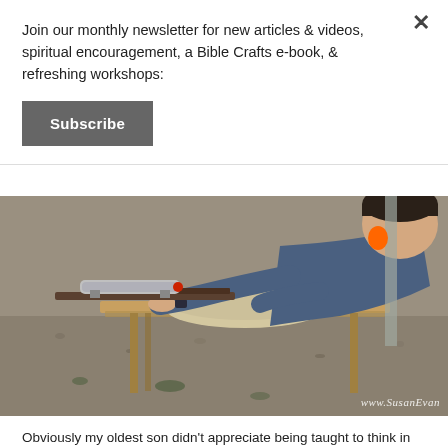Join our monthly newsletter for new articles & videos, spiritual encouragement, a Bible Crafts e-book, & refreshing workshops:
Subscribe
[Figure (photo): A young man sitting at a wooden table at an outdoor shooting range, aiming a rifle with a scope. He is wearing a blue t-shirt and orange ear protection. The background shows a gravel surface with leaves and a metal pole. A watermark reads www.SusanEvan...]
Obviously my oldest son didn't appreciate being taught to think in this way, h...